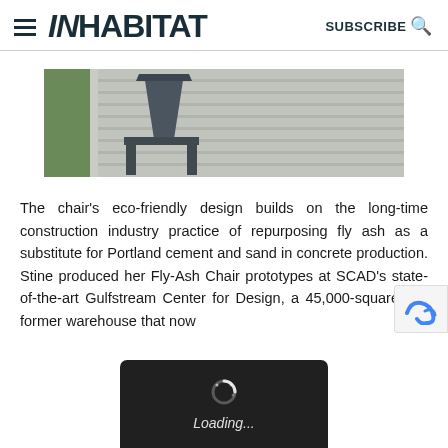INHABITAT  SUBSCRIBE
[Figure (photo): Outdoor deck with grey composite wood planks, green grass strip on left, and a dark grey modern chair visible at top]
The chair's eco-friendly design builds on the long-time construction industry practice of repurposing fly ash as a substitute for Portland cement and sand in concrete production. Stine produced her Fly-Ash Chair prototypes at SCAD's state-of-the-art Gulfstream Center for Design, a 45,000-square-foot former warehouse that now